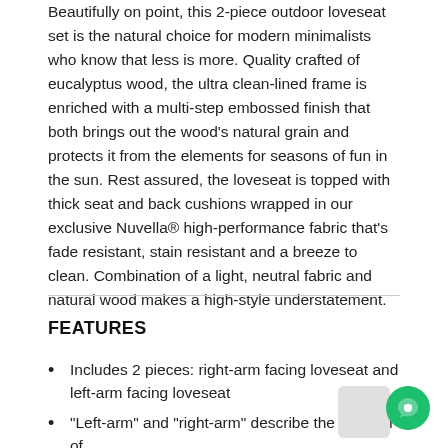Beautifully on point, this 2-piece outdoor loveseat set is the natural choice for modern minimalists who know that less is more. Quality crafted of eucalyptus wood, the ultra clean-lined frame is enriched with a multi-step embossed finish that both brings out the wood's natural grain and protects it from the elements for seasons of fun in the sun. Rest assured, the loveseat is topped with thick seat and back cushions wrapped in our exclusive Nuvella® high-performance fabric that's fade resistant, stain resistant and a breeze to clean. Combination of a light, neutral fabric and natural wood makes a high-style understatement.
FEATURES
Includes 2 pieces: right-arm facing loveseat and left-arm facing loveseat
"Left-arm" and "right-arm" describe the position of